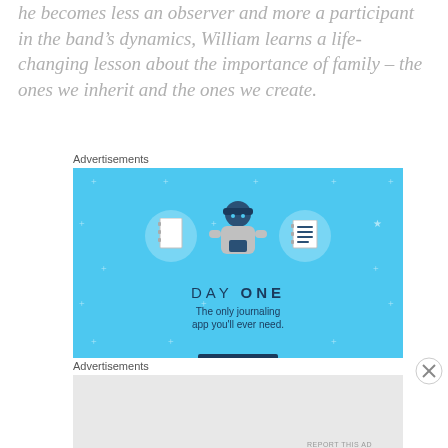he becomes less an observer and more a participant in the band's dynamics, William learns a life-changing lesson about the importance of family – the ones we inherit and the ones we create.
Advertisements
[Figure (illustration): Day One journaling app advertisement with blue background. Shows a cartoon person holding a phone, flanked by two circular icons with notebook images. Text reads 'DAY ONE - The only journaling app you'll ever need.']
Advertisements
[Figure (other): Second advertisement placeholder, light gray background, empty.]